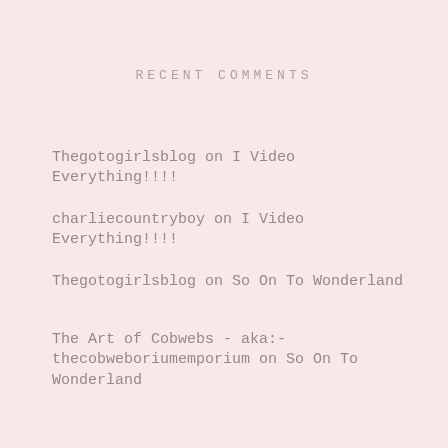RECENT COMMENTS
Thegotogirlsblog on I Video Everything!!!!
charliecountryboy on I Video Everything!!!!
Thegotogirlsblog on So On To Wonderland
The Art of Cobwebs - aka:- thecobweboriumemporium on So On To Wonderland